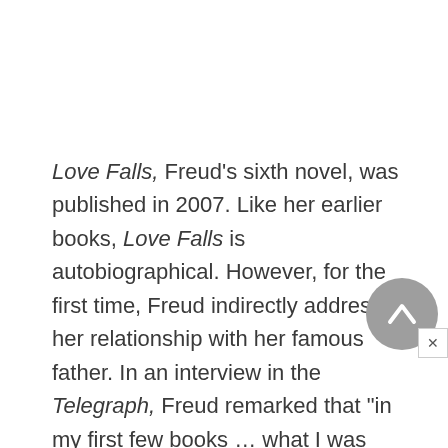Love Falls, Freud's sixth novel, was published in 2007. Like her earlier books, Love Falls is autobiographical. However, for the first time, Freud indirectly addresses her relationship with her famous father. In an interview in the Telegraph, Freud remarked that "in my first few books … what I was really interested in writing about was how it impacted on me being brought